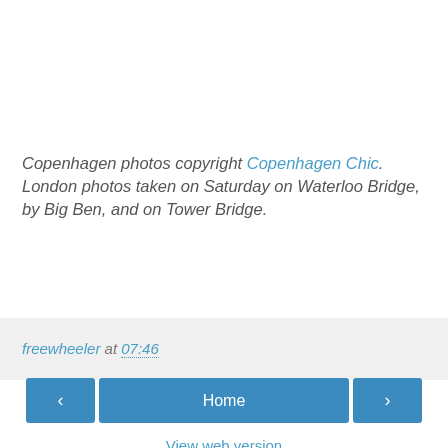Copenhagen photos copyright Copenhagen Chic. London photos taken on Saturday on Waterloo Bridge, by Big Ben, and on Tower Bridge.
freewheeler at 07:46
< Home >
View web version
Powered by Blogger.